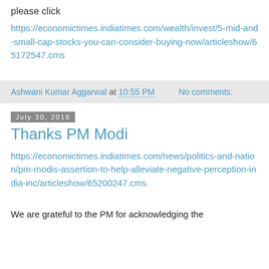please click
https://economictimes.indiatimes.com/wealth/invest/5-mid-and-small-cap-stocks-you-can-consider-buying-now/articleshow/65172547.cms
Ashwani Kumar Aggarwal at 10:55 PM    No comments:
July 30, 2018
Thanks PM Modi
https://economictimes.indiatimes.com/news/politics-and-nation/pm-modis-assertion-to-help-alleviate-negative-perception-india-inc/articleshow/65200247.cms
We are grateful to the PM for acknowledging the